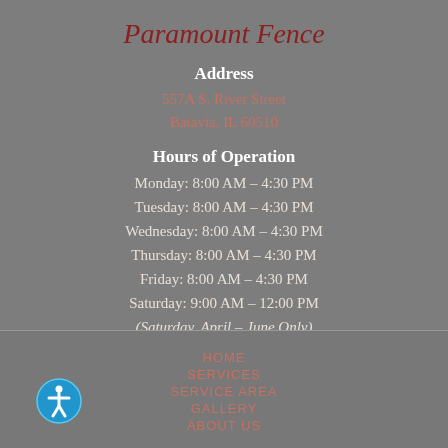Paramount Fence
Address
557A S. River Street
Batavia, IL 60510
Hours of Operation
Monday: 8:00 AM – 4:30 PM
Tuesday: 8:00 AM – 4:30 PM
Wednesday: 8:00 AM – 4:30 PM
Thursday: 8:00 AM – 4:30 PM
Friday: 8:00 AM – 4:30 PM
Saturday: 9:00 AM – 12:00 PM
(Saturday, April – June Only)
HOME
SERVICES
SERVICE AREA
GALLERY
ABOUT US